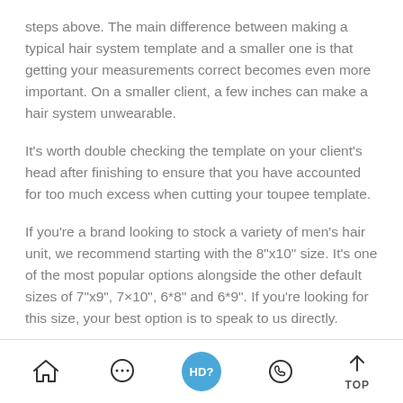steps above. The main difference between making a typical hair system template and a smaller one is that getting your measurements correct becomes even more important. On a smaller client, a few inches can make a hair system unwearable.
It's worth double checking the template on your client's head after finishing to ensure that you have accounted for too much excess when cutting your toupee template.
If you're a brand looking to stock a variety of men's hair unit, we recommend starting with the 8"x10" size. It's one of the most popular options alongside the other default sizes of 7"x9", 7×10", 6*8" and 6*9". If you're looking for this size, your best option is to speak to us directly.
Navigation footer with icons: Home, Chat, HD?, WhatsApp, TOP